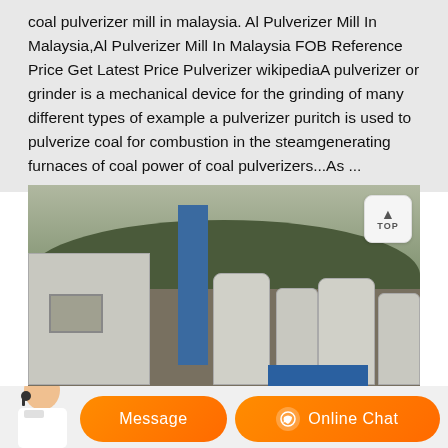coal pulverizer mill in malaysia. Al Pulverizer Mill In Malaysia,Al Pulverizer Mill In Malaysia FOB Reference Price Get Latest Price PulverizerA pulverizer or grinder is a mechanical device for the grinding of many different types of example a pulverizer puritch is used to pulverize coal for combustion in the steamgenerating furnaces of coal power of coal pulverizers...As ...
[Figure (photo): Industrial facility with silos and blue structures set against a forested hillside. Shows large cylindrical silos, a blue elevator/conveyor structure, and a blue tarp over materials, with a concrete building on the left.]